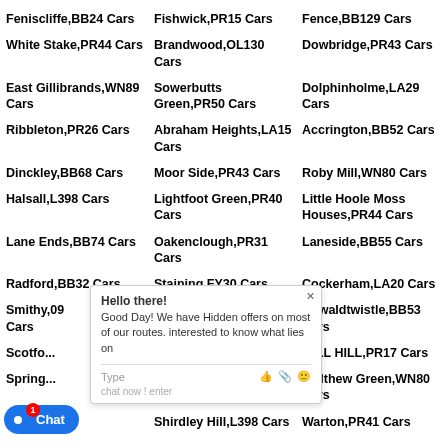Feniscliffe,BB24 Cars
Fishwick,PR15 Cars
Fence,BB129 Cars
White Stake,PR44 Cars
Brandwood,OL130 Cars
Dowbridge,PR43 Cars
East Gillibrands,WN89 Cars
Sowerbutts Green,PR50 Cars
Dolphinholme,LA29 Cars
Ribbleton,PR26 Cars
Abraham Heights,LA15 Cars
Accrington,BB52 Cars
Dinckley,BB68 Cars
Moor Side,PR43 Cars
Roby Mill,WN80 Cars
Halsall,L398 Cars
Lightfoot Green,PR40 Cars
Little Hoole Moss Houses,PR44 Cars
Lane Ends,BB74 Cars
Oakenclough,PR31 Cars
Laneside,BB55 Cars
Radford,BB32 Cars
Staining,FY30 Cars
Cockerham,LA20 Cars
Smithy,09 Cars
Mythop,FY44 Cars
Oswaldtwistle,BB53 Cars
Scotfo... Cars
Mellor,BB27 Cars
MILL HILL,PR17 Cars
Spring... Cars
Worsthorne,BB103 Cars
Walthew Green,WN80 Cars
W...79 Cars
Shirdley Hill,L398 Cars
Warton,PR41 Cars